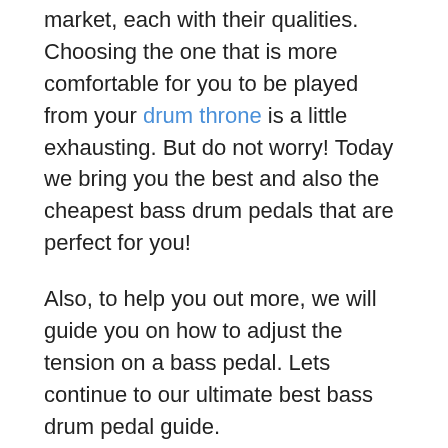market, each with their qualities. Choosing the one that is more comfortable for you to be played from your drum throne is a little exhausting. But do not worry! Today we bring you the best and also the cheapest bass drum pedals that are perfect for you!
Also, to help you out more, we will guide you on how to adjust the tension on a bass pedal. Lets continue to our ultimate best bass drum pedal guide.
What Is The Best Bass Drum Pedal?